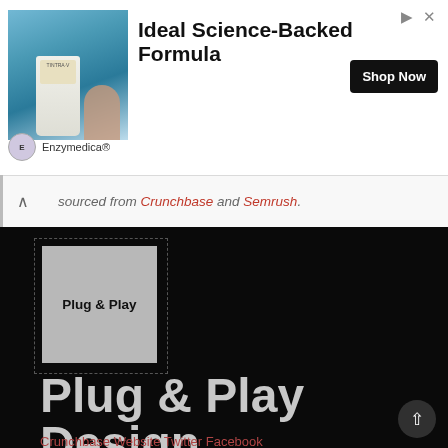[Figure (photo): Advertisement banner for Enzymedica with product bottle image, bold headline 'Ideal Science-Backed Formula', Shop Now button]
sourced from Crunchbase and Semrush.
[Figure (logo): Plug & Play logo — grey square with text 'Plug & Play' inside on dark background]
Plug & Play Design
Crunchbase Website Twitter Facebook Linkedin